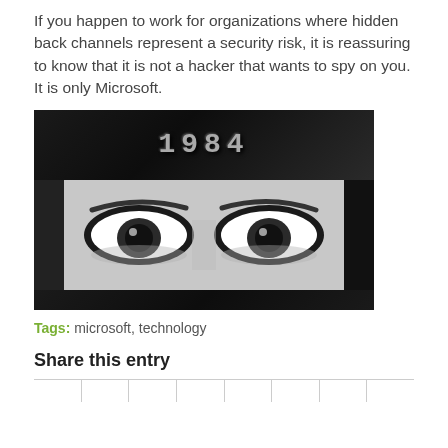If you happen to work for organizations where hidden back channels represent a security risk, it is reassuring to know that it is not a hacker that wants to spy on you. It is only Microsoft.
[Figure (photo): Black and white image showing the number '1984' in bold letters on a dark textured background above a close-up of a person's eyes staring forward, referencing George Orwell's 1984.]
Tags: microsoft, technology
Share this entry
|  |  |  |  |  |  |  |  |